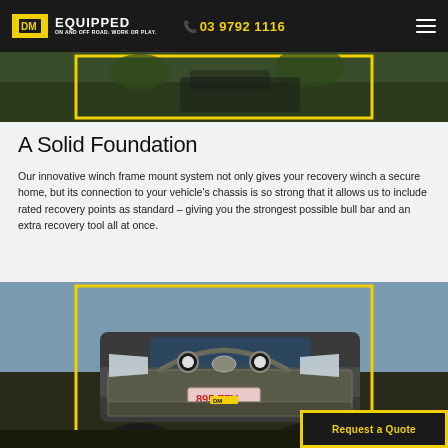DM EQUIPPED ON AND OFF ROAD. WORK OR PLAY. 03 9792 1116
[Figure (photo): Partial top image of vehicle off-road scene with yellow border frame]
A Solid Foundation
Our innovative winch frame mount system not only gives your recovery winch a secure home, but its connection to your vehicle’s chassis is so strong that it allows us to include rated recovery points as standard – giving you the strongest possible bull bar and an extra recovery tool all at once.
[Figure (photo): Close-up front photo of a Toyota 4WD vehicle with a DM Equipped bull bar, driving lights, license plate 895 ZZV, with yellow border frame]
Request a Quote